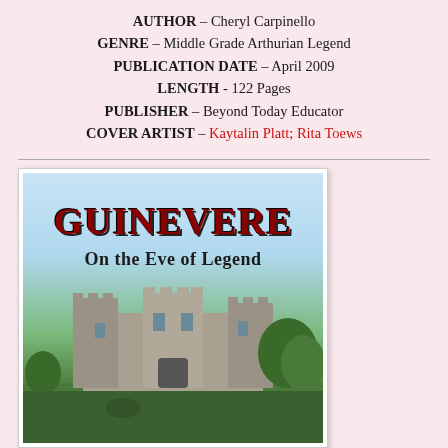AUTHOR – Cheryl Carpinello
GENRE – Middle Grade Arthurian Legend
PUBLICATION DATE – April 2009
LENGTH - 122 Pages
PUBLISHER – Beyond Today Educator
COVER ARTIST – Kaytalin Platt; Rita Toews
[Figure (illustration): Book cover for 'Guinevere: On the Eve of Legend' showing large gothic red title text, subtitle in black medieval font, and a medieval castle with towers in the background with green trees and foliage.]